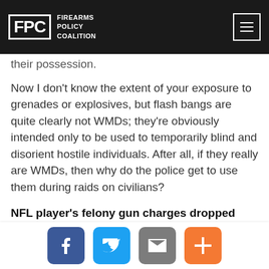FPC FIREARMS POLICY COALITION
their possession.
Now I don't know the extent of your exposure to grenades or explosives, but flash bangs are quite clearly not WMDs; they're obviously intended only to be used to temporarily blind and disorient hostile individuals. After all, if they really are WMDs, then why do the police get to use them during raids on civilians?
NFL player's felony gun charges dropped
In a turn of good news, Defensive End Quinnen Williams of the New York Jets is free and clear of